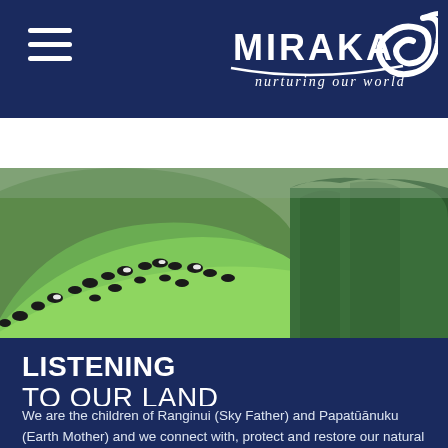MIRAKA nurturing our world
[Figure (photo): Aerial view of green rolling hills with black and white dairy cows grazing, dense green forest/trees on the right side]
LISTENING TO OUR LAND
We are the children of Ranginui (Sky Father) and Papatūānuku (Earth Mother) and we connect with, protect and restore our natural environment. We are kaitiaki – caring for this place for the generations that follow. We nurture our